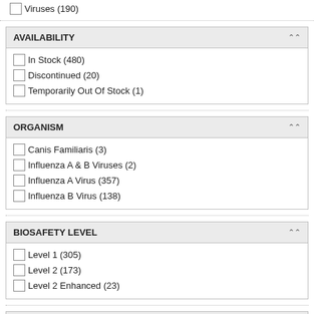Viruses (190)
AVAILABILITY
In Stock (480)
Discontinued (20)
Temporarily Out Of Stock (1)
ORGANISM
Canis Familiaris (3)
Influenza A & B Viruses (2)
Influenza A Virus (357)
Influenza B Virus (138)
BIOSAFETY LEVEL
Level 1 (305)
Level 2 (173)
Level 2 Enhanced (23)
CONTRIBUTOR
WHO Collaborating Center... (501)